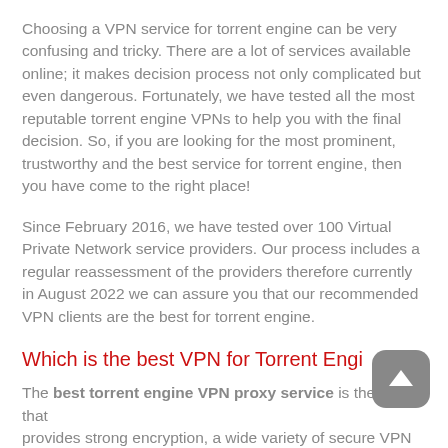Choosing a VPN service for torrent engine can be very confusing and tricky. There are a lot of services available online; it makes decision process not only complicated but even dangerous. Fortunately, we have tested all the most reputable torrent engine VPNs to help you with the final decision. So, if you are looking for the most prominent, trustworthy and the best service for torrent engine, then you have come to the right place!
Since February 2016, we have tested over 100 Virtual Private Network service providers. Our process includes a regular reassessment of the providers therefore currently in August 2022 we can assure you that our recommended VPN clients are the best for torrent engine.
Which is the best VPN for Torrent Engine
The best torrent engine VPN proxy service is the one that provides strong encryption, a wide variety of secure VPN apps,